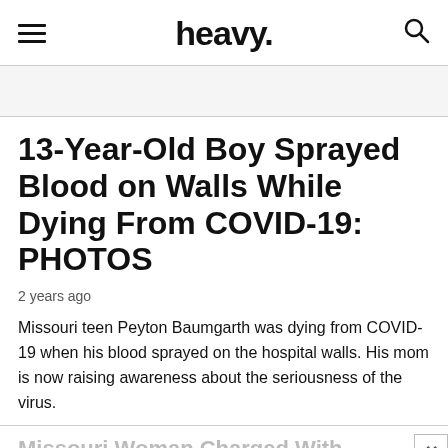heavy.
13-Year-Old Boy Sprayed Blood on Walls While Dying From COVID-19: PHOTOS
2 years ago
Missouri teen Peyton Baumgarth was dying from COVID-19 when his blood sprayed on the hospital walls. His mom is now raising awareness about the seriousness of the virus.
Missouri Woman Charged With Murder of Ex-Husband & His Girlfriend